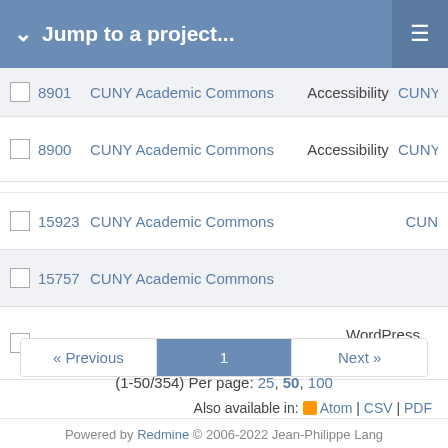Jump to a project...
|  | # | Project | Tracker | Assignee |
| --- | --- | --- | --- | --- |
|  | 8901 | CUNY Academic Commons | Accessibility | CUNY |
|  | 8900 | CUNY Academic Commons | Accessibility | CUNY |
|  | 15923 | CUNY Academic Commons |  | CUN |
|  | 15757 | CUNY Academic Commons |  |  |
|  | 15516 | CUNY Academic Commons | WordPress Plugins |  |
« Previous  1  Next »
(1-50/354) Per page: 25, 50, 100
Also available in: Atom | CSV | PDF
Powered by Redmine © 2006-2022 Jean-Philippe Lang